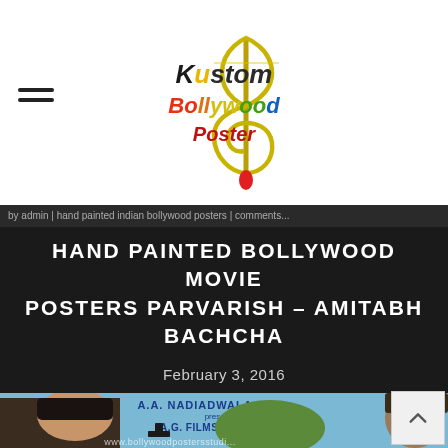[Figure (logo): Kustom Bollywood Poster logo with musical note and colorful text]
HAND PAINTED BOLLYWOOD MOVIE POSTERS PARVARISH – AMITABH BACHCHA
February 3, 2016
[Figure (photo): Hand painted Bollywood movie poster for Parvarish featuring Amitabh Bachchan, with text A.A. NADIADWALA presents A.G. FILMS (P) LTD'S and watermark www.bollywoodpostersstudi... at bottom]